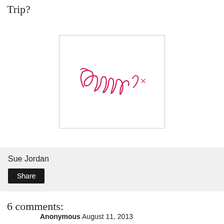Trip?
[Figure (illustration): A handwritten cursive signature reading 'CherrySue x' in pink/red ink on a white card with a thin border.]
Sue Jordan
Share
6 comments:
Anonymous  August 11, 2013
Oh my goodness, that looks dreamy! I could really do with a relaxing weekend right about now.